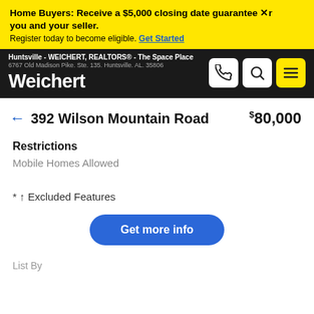Home Buyers: Receive a $5,000 closing date guarantee. Register today to become eligible. Get Started
Huntsville - WEICHERT, REALTORS® - The Space Place
6767 Old Madison Pike. Ste. 135. Huntsville. AL. 35806
← 392 Wilson Mountain Road   $80,000
Restrictions
Mobile Homes Allowed
* ↑ Excluded Features
Get more info
List By